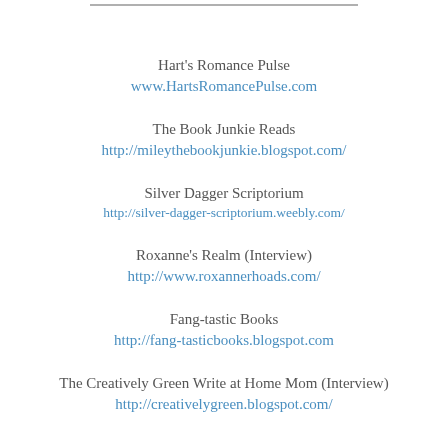Hart's Romance Pulse
www.HartsRomancePulse.com
The Book Junkie Reads
http://mileythebookjunkie.blogspot.com/
Silver Dagger Scriptorium
http://silver-dagger-scriptorium.weebly.com/
Roxanne's Realm (Interview)
http://www.roxannerhoads.com/
Fang-tastic Books
http://fang-tasticbooks.blogspot.com
The Creatively Green Write at Home Mom (Interview)
http://creativelygreen.blogspot.com/